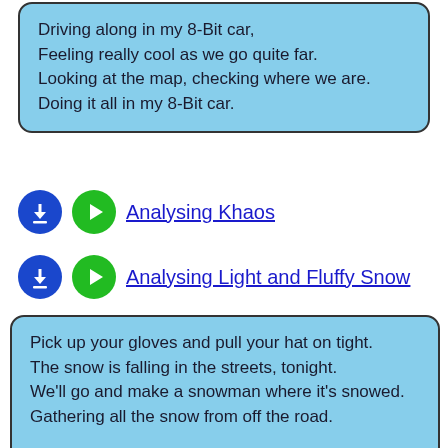Driving along in my 8-Bit car,
Feeling really cool as we go quite far.
Looking at the map, checking where we are.
Doing it all in my 8-Bit car.
Analysing Khaos
Analysing Light and Fluffy Snow
Pick up your gloves and pull your hat on tight.
The snow is falling in the streets, tonight.
We'll go and make a snowman where it's snowed.
Gathering all the snow from off the road.

My toes are frozen.
My toes are frozen.
I've put more socks on,
But they're still frozen.